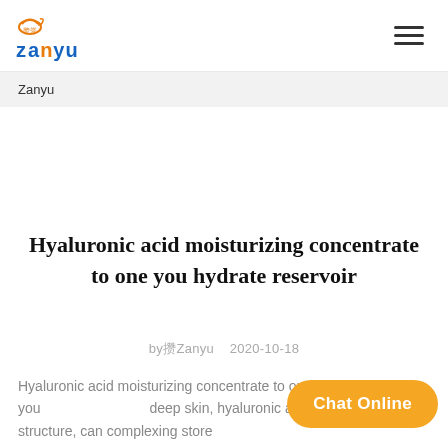Zanyu [logo with Chinese characters] | hamburger menu
Zanyu
Hyaluronic acid moisturizing concentrate to one you hydrate reservoir
by攒Zanyu   2020-10-18
Hyaluronic acid moisturizing concentrate to one you deep skin, hyaluronic acid of the special structure, can complexing store